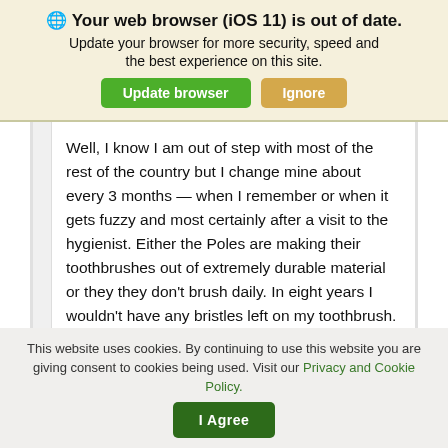🌐 Your web browser (iOS 11) is out of date. Update your browser for more security, speed and the best experience on this site.
Well, I know I am out of step with most of the rest of the country but I change mine about every 3 months — when I remember or when it gets fuzzy and most certainly after a visit to the hygienist. Either the Poles are making their toothbrushes out of extremely durable material or they they don't brush daily. In eight years I wouldn't have any bristles left on my toothbrush.
[Figure (illustration): Thumbs up and thumbs down icons in green/dark color]
This website uses cookies. By continuing to use this website you are giving consent to cookies being used. Visit our Privacy and Cookie Policy.